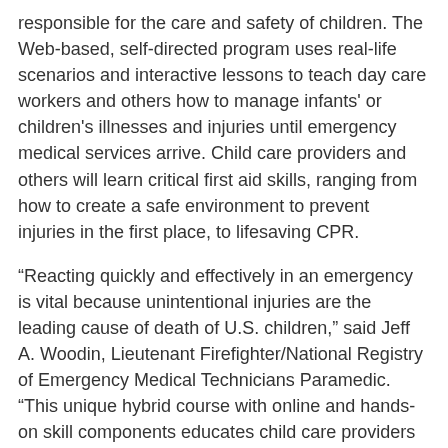responsible for the care and safety of children. The Web-based, self-directed program uses real-life scenarios and interactive lessons to teach day care workers and others how to manage infants' or children's illnesses and injuries until emergency medical services arrive. Child care providers and others will learn critical first aid skills, ranging from how to create a safe environment to prevent injuries in the first place, to lifesaving CPR.
“Reacting quickly and effectively in an emergency is vital because unintentional injuries are the leading cause of death of U.S. children,” said Jeff A. Woodin, Lieutenant Firefighter/National Registry of Emergency Medical Technicians Paramedic. “This unique hybrid course with online and hands-on skill components educates child care providers and parents about the four steps of first aid and a variety of first aid skills,” said Woodin, who is Immediate Past Chair of the AHA First Aid Subcommittee and a member of the International Liaison Committee on Resuscitation First Aid Task Force.
The training course is an all-in-one solution to learn four key steps in giving first aid: prevention, being safe, calling 9-1-1 and taking action. Additionally, the course includes adult CPR/AED, child mask, infant mask and asthma care training. The course meets the regulatory requirements for child care workers, but its contents are also invaluable skills for parents to